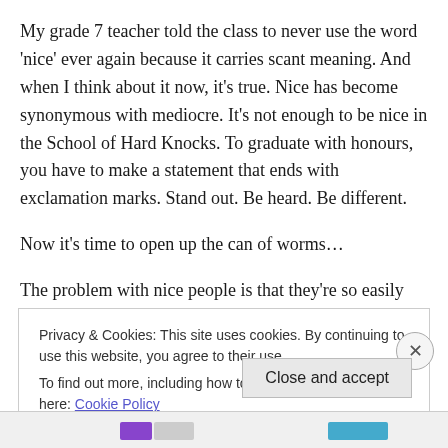My grade 7 teacher told the class to never use the word 'nice' ever again because it carries scant meaning. And when I think about it now, it's true. Nice has become synonymous with mediocre. It's not enough to be nice in the School of Hard Knocks. To graduate with honours, you have to make a statement that ends with exclamation marks. Stand out. Be heard. Be different.
Now it's time to open up the can of worms…
The problem with nice people is that they're so easily
Privacy & Cookies: This site uses cookies. By continuing to use this website, you agree to their use.
To find out more, including how to control cookies, see here: Cookie Policy